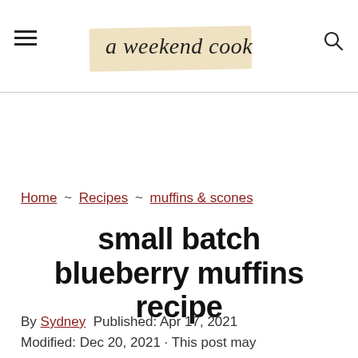a weekend cook
Home ~ Recipes ~ muffins & scones
small batch blueberry muffins recipe
By Sydney Published: Apr 17, 2021 Modified: Dec 20, 2021 · This post may